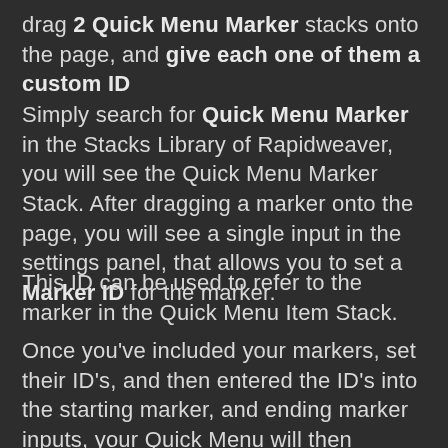drag 2 Quick Menu Marker stacks onto the page, and give each one of them a custom ID
Simply search for Quick Menu Marker in the Stacks Library of Rapidweaver, you will see the Quick Menu Marker Stack. After dragging a marker onto the page, you will see a single input in the settings panel, that allows you to set a Marker ID for the marker.
This ID can be used to refer to the marker in the Quick Menu Item Stack.
Once you've included your markers, set their ID's, and then entered the ID's into the starting marker, and ending marker inputs, your Quick Menu will then appear inbetween these two points on your page!! Super Slick eh??